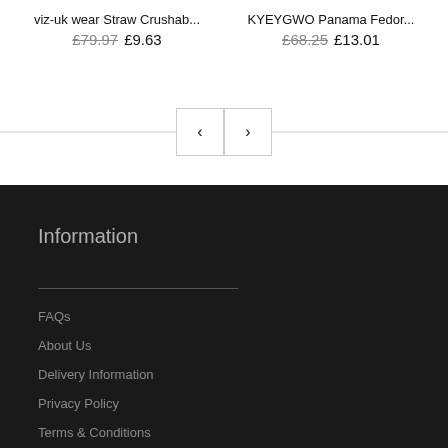viz-uk wear Straw Crushab...
£79.97 £9.63
KYEYGWO Panama Fedor...
£68.25 £13.01
[Figure (other): Pagination controls with left and right arrow buttons on a horizontal rule]
Information
FAQs
About Us
Delivery Information
Privacy Policy
Terms & Conditions